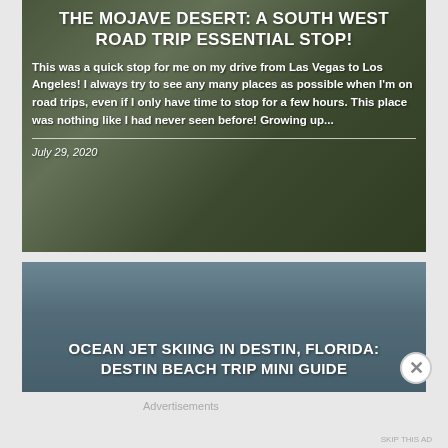[Figure (photo): Card with background showing a person and a cat in front of desert Joshua trees, with white text overlay for blog post about Mojave Desert road trip]
THE MOJAVE DESERT: A SOUTH WEST ROAD TRIP ESSENTIAL STOP!
This was a quick stop for me on my drive from Las Vegas to Los Angeles! I always try to see any many places as possible when I'm on road trips, even if I only have time to stop for a few hours. This place was nothing like I had never seen before! Growing up...
July 29, 2020
[Figure (photo): Card with background photo of a person standing near ocean water in Destin, Florida, with white text overlay for blog post about ocean jet skiing]
OCEAN JET SKIING IN DESTIN, FLORIDA: DESTIN BEACH TRIP MINI GUIDE
Advertisements